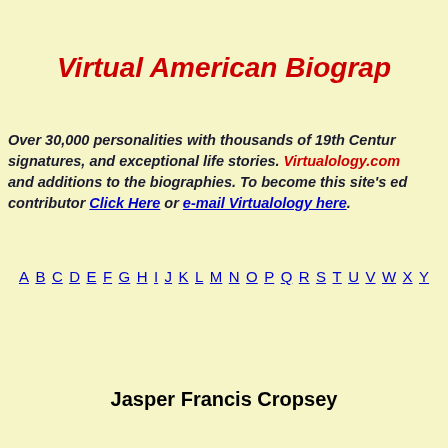Virtual American Biographies
Over 30,000 personalities with thousands of 19th Century signatures, and exceptional life stories. Virtualology.com and additions to the biographies. To become this site's editor contributor Click Here or e-mail Virtualology here.
A B C D E F G H I J K L M N O P Q R S T U V W X Y
Jasper Francis Cropsey